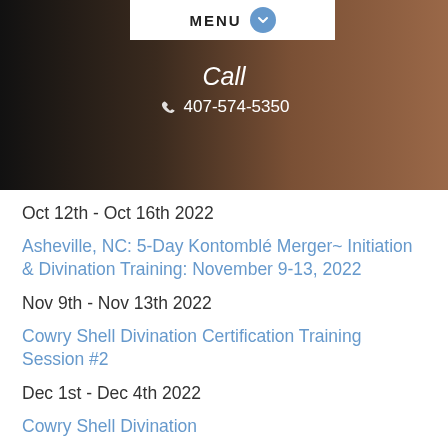MENU
Call
407-574-5350
Oct 12th - Oct 16th 2022
Asheville, NC: 5-Day Kontomblé Merger~ Initiation & Divination Training: November 9-13, 2022
Nov 9th - Nov 13th 2022
Cowry Shell Divination Certification Training Session #2
Dec 1st - Dec 4th 2022
Cowry Shell Divination